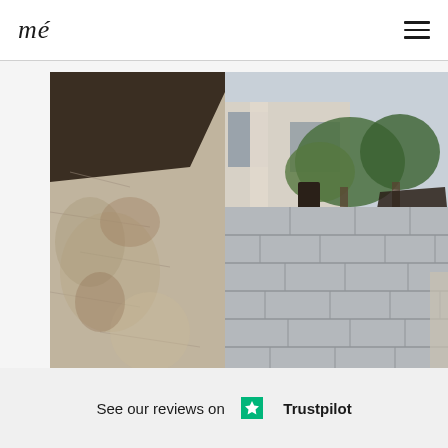me (logo) | hamburger menu
[Figure (photo): Exterior architectural photo showing a stone pillar on the left with rough-cut natural stone texture, an overhanging dark structural element at top-left, and a long horizontal wall of grey smooth rectangular stone blocks extending to the right, with a narrow water feature or channel at the base. Lush green trees and a modern building facade are visible in the background under an overcast sky.]
See our reviews on ★ Trustpilot